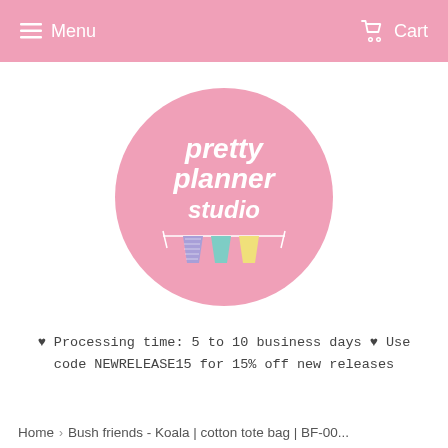Menu   Cart
[Figure (logo): Pretty Planner Studio logo — pink circle with white handwritten text 'pretty planner studio' and colorful bunting flags (purple striped, teal, yellow) hanging on a string]
♥ Processing time: 5 to 10 business days ♥ Use code NEWRELEASE15 for 15% off new releases
Home > Bush friends - Koala | cotton tote bag | BF-00...